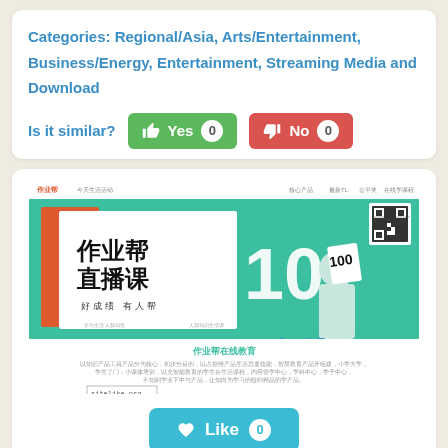Categories: Regional/Asia, Arts/Entertainment, Business/Energy, Entertainment, Streaming Media and Download
Is it similar? Yes 0  No 0
[Figure (screenshot): Screenshot of a Chinese educational website 作业帮在线教育 (Homework Help Online Education) showing a banner with Chinese characters 作业帮 直播课 (Live Classes), 好成绩 有人帮, a score of 100, a student photo, QR code, and site description text. Also shows sitelike.org watermark.]
Like 0